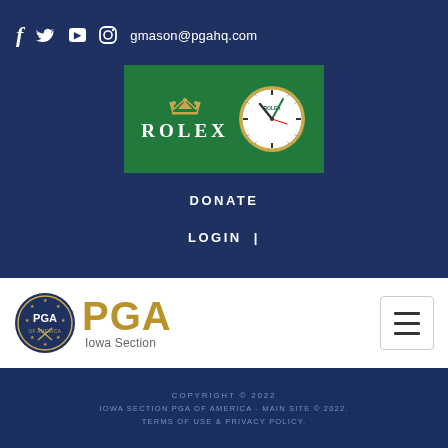f  Twitter  YouTube  Instagram  gmason@pgahq.com
[Figure (logo): Rolex sponsor logo on green background with Rolex crown, wordmark, and clock face]
DONATE
LOGIN  |
[Figure (logo): PGA Iowa Section logo with circular badge and gold PGA wordmark]
[Figure (other): Hamburger menu button]
COPYRIGHT © 2022
IOWA SECTION PGA OF AMERICA - MAIN SITE © 2022.
TERMS OF USE & PRIVACY POLICY.